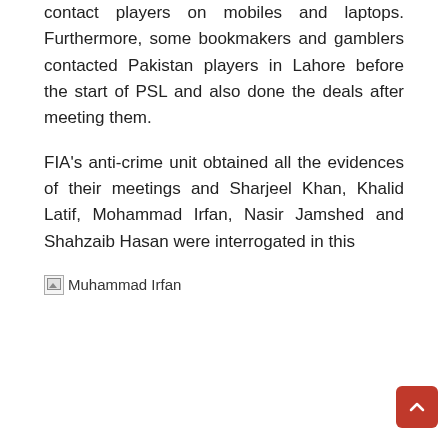contact players on mobiles and laptops. Furthermore, some bookmakers and gamblers contacted Pakistan players in Lahore before the start of PSL and also done the deals after meeting them.
FIA's anti-crime unit obtained all the evidences of their meetings and Sharjeel Khan, Khalid Latif, Mohammad Irfan, Nasir Jamshed and Shahzaib Hasan were interrogated in this
[Figure (photo): Broken image placeholder labeled 'Muhammad Irfan']
regard. The sources further disclosed that spot-fixing is done in the entire world, and its biggest networks operate from India, Mumbai and New Delhi. The chain of spot-fixing is so vast that